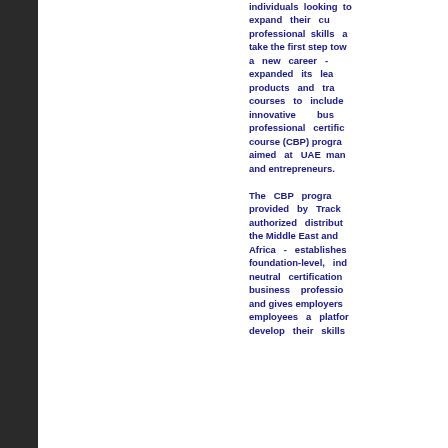individuals looking to expand their current professional skills and take the first step towards a new career - has expanded its learning products and training courses to include innovative business professional certification course (CBP) programmes aimed at UAE managers and entrepreneurs.

The CBP programme is provided by Track - an authorized distributor in the Middle East and North Africa - establishes foundation-level, industry neutral certification for business professionals and gives employers and employees a platform to develop their skills.